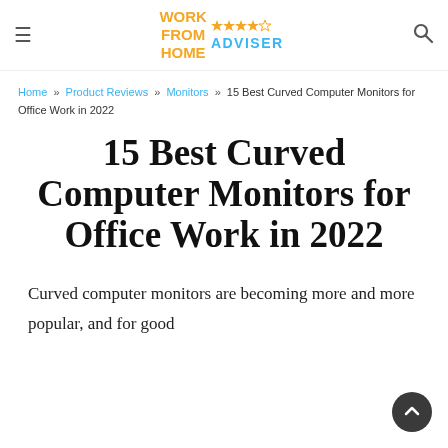WORK FROM HOME ADVISER
Home » Product Reviews » Monitors » 15 Best Curved Computer Monitors for Office Work in 2022
15 Best Curved Computer Monitors for Office Work in 2022
Curved computer monitors are becoming more and more popular, and for good